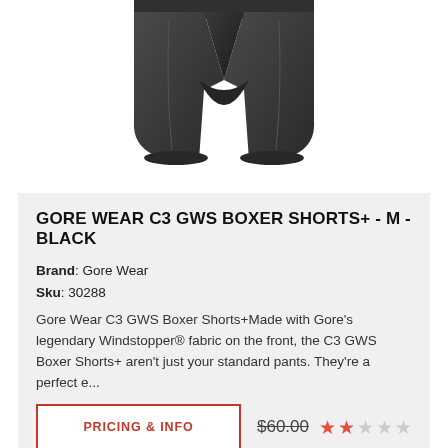[Figure (photo): Black cycling boxer shorts (Gore Wear C3 GWS Boxer Shorts+) shown on white background, partial view cropped at top]
GORE WEAR C3 GWS BOXER SHORTS+ - M - BLACK
Brand: Gore Wear
Sku: 30288
Gore Wear C3 GWS Boxer Shorts+Made with Gore's legendary Windstopper® fabric on the front, the C3 GWS Boxer Shorts+ aren't just your standard pants. They're a perfect e...
PRICING & INFO  $60.00  ★★☆☆☆